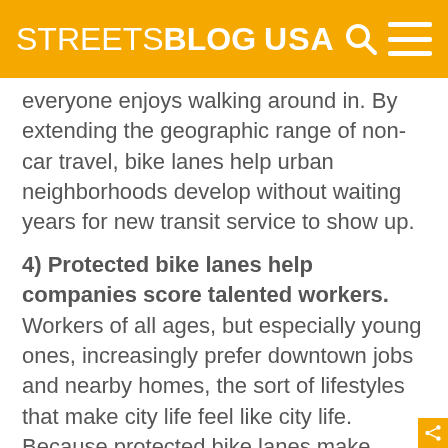STREETSBLOG USA
everyone enjoys walking around in. By extending the geographic range of non-car travel, bike lanes help urban neighborhoods develop without waiting years for new transit service to show up.
4) Protected bike lanes help companies score talented workers. Workers of all ages, but especially young ones, increasingly prefer downtown jobs and nearby homes, the sort of lifestyles that make city life feel like city life. Because protected bike lanes make biking more comfortable and popular, they help companies locate downtown without breaking the bank on auto parking space, and allow workers to reach their desk the way they increasingly prefer: under